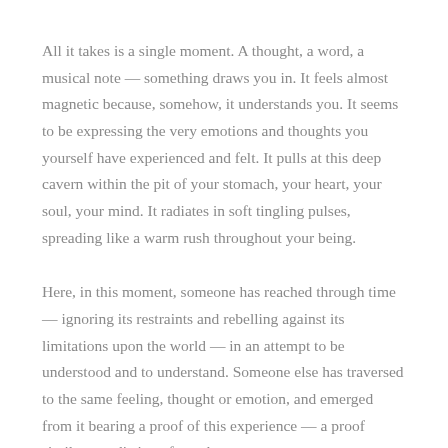All it takes is a single moment. A thought, a word, a musical note — something draws you in. It feels almost magnetic because, somehow, it understands you. It seems to be expressing the very emotions and thoughts you yourself have experienced and felt. It pulls at this deep cavern within the pit of your stomach, your heart, your soul, your mind. It radiates in soft tingling pulses, spreading like a warm rush throughout your being.
Here, in this moment, someone has reached through time — ignoring its restraints and rebelling against its limitations upon the world — in an attempt to be understood and to understand. Someone else has traversed to the same feeling, thought or emotion, and emerged from it bearing a proof of this experience — a proof similar, yet distinct, from the one you carry.